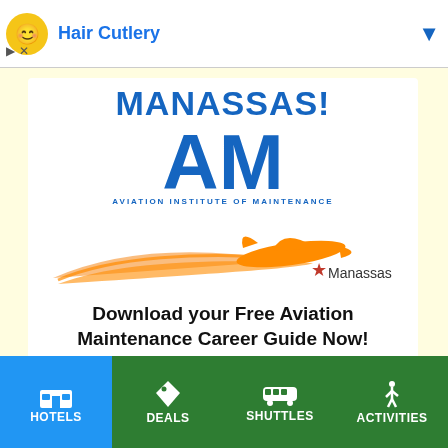[Figure (screenshot): Ad bar at top with Hair Cutlery logo and title in blue]
[Figure (logo): Aviation Institute of Maintenance (AIM) advertisement banner with MANASSAS! heading, AM logo with orange airplane graphic, and text 'Download your Free Aviation Maintenance Career Guide Now!']
[Figure (screenshot): Navigation bar with hamburger menu icon on left and Menu text on right]
[Figure (screenshot): Bottom tab bar with HOTELS (blue), DEALS (green), SHUTTLES (green), ACTIVITIES (green)]